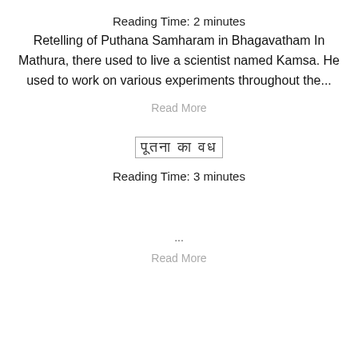Reading Time: 2 minutes
Retelling of Puthana Samharam in Bhagavatham In Mathura, there used to live a scientist named Kamsa. He used to work on various experiments throughout the...
Read More
पूतना का वध
Reading Time: 3 minutes
...
Read More